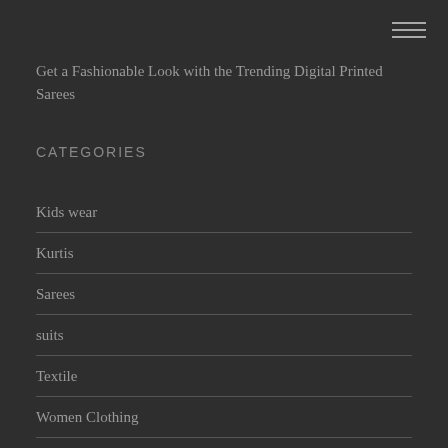[Figure (other): Hamburger menu icon with three horizontal lines in top-right corner]
Get a Fashionable Look with the Trending Digital Printed Sarees
CATEGORIES
Kids wear
Kurtis
Sarees
suits
Textile
Women Clothing